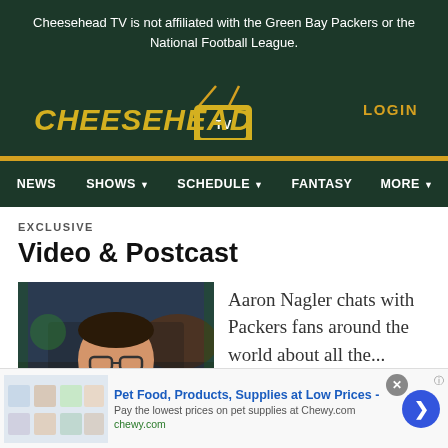Cheesehead TV is not affiliated with the Green Bay Packers or the National Football League.
[Figure (logo): Cheesehead TV logo with yellow italic text and TV box icon]
LOGIN
NEWS  SHOWS  SCHEDULE  FANTASY  MORE
EXCLUSIVE
Video & Postcast
[Figure (photo): Man with glasses wearing a dark jacket in front of a Packers-themed background]
Aaron Nagler chats with Packers fans around the world about all the...
Pet Food, Products, Supplies at Low Prices -
Pay the lowest prices on pet supplies at Chewy.com
chewy.com